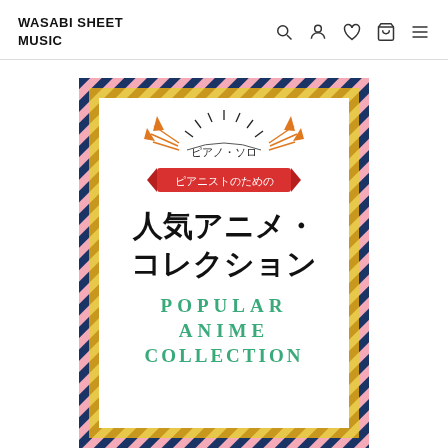WASABI SHEET MUSIC
[Figure (illustration): Book cover for a Japanese piano sheet music collection titled 'Popular Anime Collection for Pianists'. Features nested diagonal-stripe borders in navy/pink and gold, a sunburst illustration at top, a red ribbon banner with Japanese text 'ピアニストのための', large Japanese title '人気アニメ・コレクション', and English subtitle 'POPULAR ANIME COLLECTION' in teal/green lettering.]